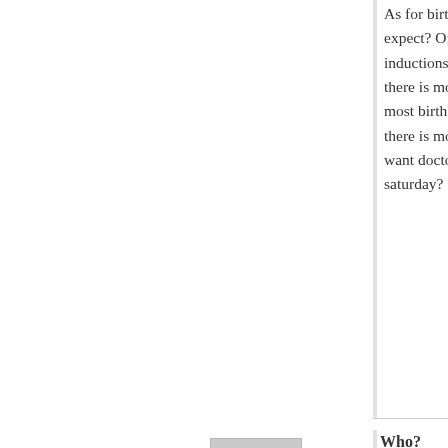As for births being higher during the week d expect? Of course, every elective c-section inductions are going to be scheduled during there is more staff. And most will be planned most birth will still occur during the day. Bec there is more staff, making it the safest time want doctors to start planning elective c-sec saturday?
[Figure (illustration): Generic user avatar silhouette in grey square]
Log in to Reply
Who?
Au
Are you suggesting that pain medication is o needed' and then administered without the w Because if the doctor orders it 'when neede asks for it, where is the problem?
And thinking more about pain, how is labou different way from the pain of a broken bone comfortable in the critical stages of a bone i being examined and treated, and during the after surgery, and not accord a labouring wo service?